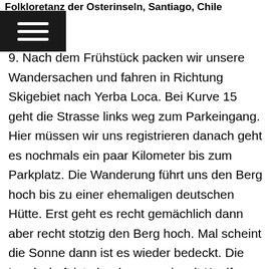Folkloretanz der Osterinseln, Santiago, Chile
9. Nach dem Frühstück packen wir unsere Wandersachen und fahren in Richtung Skigebiet nach Yerba Loca. Bei Kurve 15 geht die Strasse links weg zum Parkeingang. Hier müssen wir uns registrieren danach geht es nochmals ein paar Kilometer bis zum Parkplatz. Die Wanderung führt uns den Berg hoch bis zu einer ehemaligen deutschen Hütte. Erst geht es recht gemächlich dann aber recht stotzig den Berg hoch. Mal scheint die Sonne dann ist es wieder bedeckt. Die Landschaft ist eher karg vereinzelt Koniferen, kleine Bäumchen und Büsche, ab und zu sogar blühende Büsche. Im Tal unten fliesst ein Fluss mit klarem Gletscherwasser. Ein paar Pferde geniessen das frische Gras.